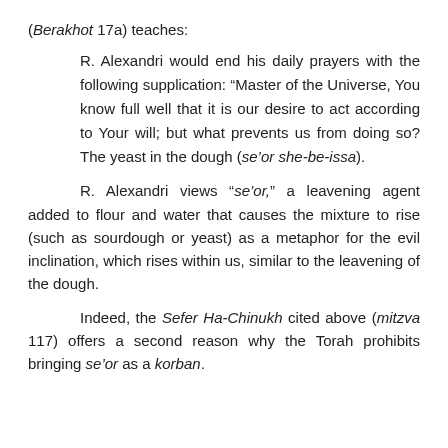(Berakhot 17a) teaches:
R. Alexandri would end his daily prayers with the following supplication: “Master of the Universe, You know full well that it is our desire to act according to Your will; but what prevents us from doing so? The yeast in the dough (se’or she-be-issa).
R. Alexandri views “se’or,” a leavening agent added to flour and water that causes the mixture to rise (such as sourdough or yeast) as a metaphor for the evil inclination, which rises within us, similar to the leavening of the dough.
Indeed, the Sefer Ha-Chinukh cited above (mitzva 117) offers a second reason why the Torah prohibits bringing se’or as a korban.